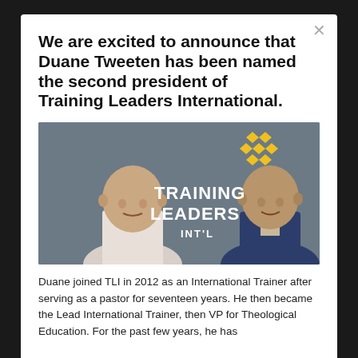We are excited to announce that Duane Tweeten has been named the second president of Training Leaders International.
[Figure (photo): Two men standing in front of a dark gray wall with 'TRAINING LEADERS INT'L' text logo and a yellow diamond pattern logo. The man on the left wears a white checked shirt; the man on the right wears a dark navy blazer.]
Duane joined TLI in 2012 as an International Trainer after serving as a pastor for seventeen years. He then became the Lead International Trainer, then VP for Theological Education. For the past few years, he has